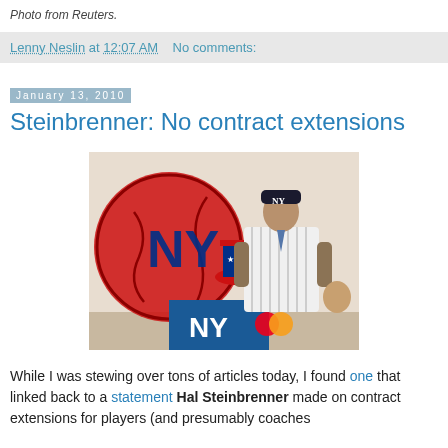Photo from Reuters.
Lenny Neslin at 12:07 AM   No comments:
January 13, 2010
Steinbrenner: No contract extensions
[Figure (photo): A man wearing a New York Yankees pinstripe jersey and NY Yankees cap stands at a podium with Yankees branding and a MasterCard logo, posing in front of a large NY Yankees baseball logo banner.]
While I was stewing over tons of articles today, I found one that linked back to a statement Hal Steinbrenner made on contract extensions for players (and presumably coaches